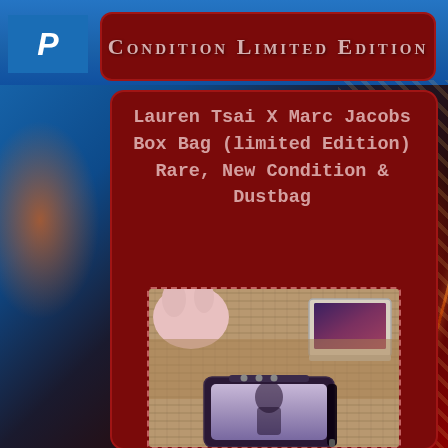Condition Limited Edition
Lauren Tsai X Marc Jacobs Box Bag (limited Edition) Rare, New Condition & Dustbag
[Figure (photo): Photo of a Lauren Tsai X Marc Jacobs limited edition box bag placed on a patterned cloth/map surface, with a pink bunny plush and an open laptop visible in the background. The bag is dark/purple colored with anime-style artwork and a shoulder strap.]